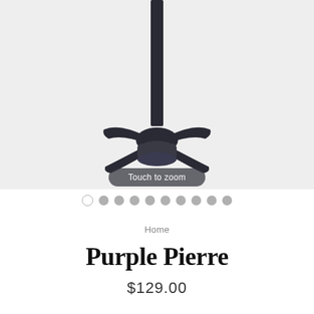[Figure (photo): Product photo of a black floor stand (quad-base cane/stand) with an X-shaped base, photographed on a light gray background. A 'Touch to zoom' overlay label appears at the bottom center of the image.]
○ ● ● ● ● ● ● ● ● ●
Home
Purple Pierre
$129.00